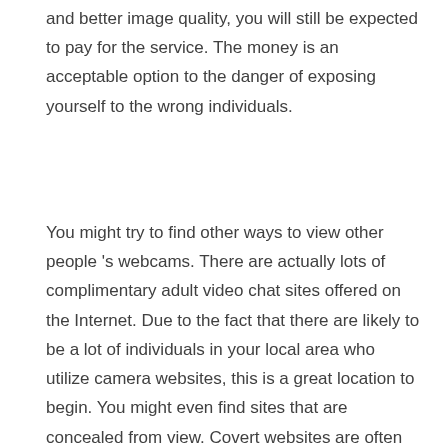and better image quality, you will still be expected to pay for the service. The money is an acceptable option to the danger of exposing yourself to the wrong individuals.
You might try to find other ways to view other people 's webcams. There are actually lots of complimentary adult video chat sites offered on the Internet. Due to the fact that there are likely to be a lot of individuals in your local area who utilize camera websites, this is a great location to begin. You might even find sites that are concealed from view. Covert websites are often run by spammers or illegal dealers. You most likely shouldn 't use them if you don 't understand what they are doing. Pay.by Phone Sex Cams
In addition, adult web cams are easier than a typical web camera. You can quickly conceal your activities from view with a free adult video chat site. You can meet people who have an interest in the exact same things as you and simply have a personal conversation without the need to expose anything to others. That 's a huge